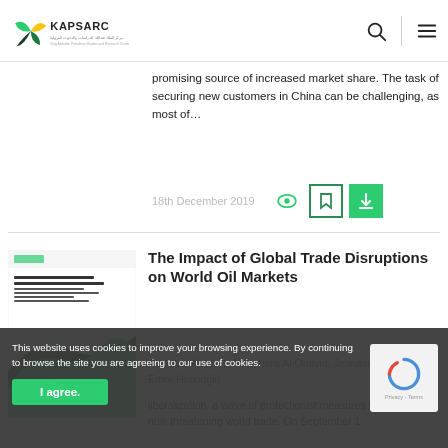KAPSARC — King Abdullah Petroleum Studies and Research Center
promising source of increased market share. The task of securing new customers in China can be challenging, as most of…
18th December 2019
[Figure (illustration): Book cover thumbnail for 'The Impact of Global Trade Disruptions on World Oil Markets' with green mountain graphic]
The Impact of Global Trade Disruptions on World Oil Markets
Abdullah Aldayel, AlJawhara Al Quayid, Jennifer Considine, Emre Hatipoglu
liberalization, a wave of protectionist measures trade war is now threatening world trade. On September 1,
This website uses cookies to improve your browsing experience. By continuing to browse the site you are agreeing to our use of cookies.